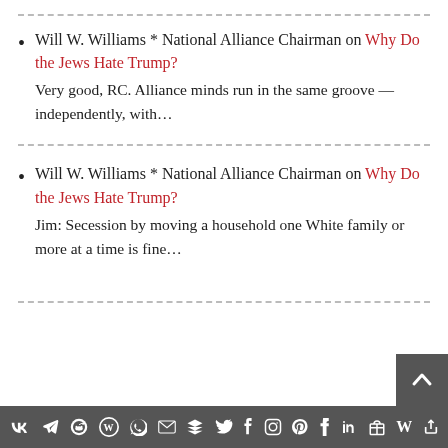Will W. Williams * National Alliance Chairman on Why Do the Jews Hate Trump?
Very good, RC. Alliance minds run in the same groove — independently, with…
Will W. Williams * National Alliance Chairman on Why Do the Jews Hate Trump?
Jim: Secession by moving a household one White family or more at a time is fine…
Social media share icons bar